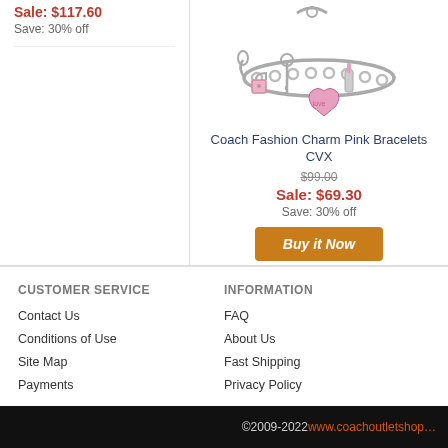Sale: $117.60
Save: 30% off
[Figure (photo): Coach charm bracelet with pink heart and lock charms on a silver chain]
Coach Fashion Charm Pink Bracelets CVX
$99.00
Sale: $69.30
Save: 30% off
Buy it Now
CUSTOMER SERVICE
Contact Us
Conditions of Use
Site Map
Payments
INFORMATION
FAQ
About Us
Fast Shipping
Privacy Policy
©2009-2022 www.coachoutletshop...